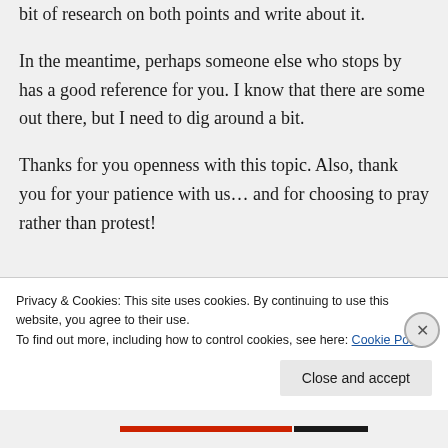bit of research on both points and write about it.
In the meantime, perhaps someone else who stops by has a good reference for you. I know that there are some out there, but I need to dig around a bit.
Thanks for you openness with this topic. Also, thank you for your patience with us… and for choosing to pray rather than protest!
Privacy & Cookies: This site uses cookies. By continuing to use this website, you agree to their use.
To find out more, including how to control cookies, see here: Cookie Policy
Close and accept